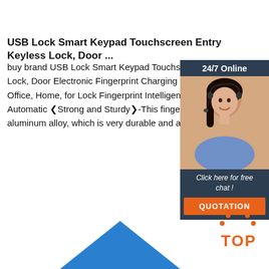USB Lock Smart Keypad Touchscreen Entry Keyless Lock, Door ...
buy brand USB Lock Smart Keypad Touchscreen Entry Keyless Lock, Door Electronic Fingerprint Charging Garage Office, Home, for Lock Fingerprint Intelligent Lock, P Automatic 「Strong and Sturdy」-This fingerprint lock aluminum alloy, which is very durable and anti-theft
[Figure (photo): Customer service representative with headset, 24/7 Online chat widget with QUOTATION button]
Get Price
[Figure (logo): TOP logo with orange dots arranged in arc above the letters TOP in orange on dark background]
[Figure (illustration): Blue geometric shape at bottom of page]